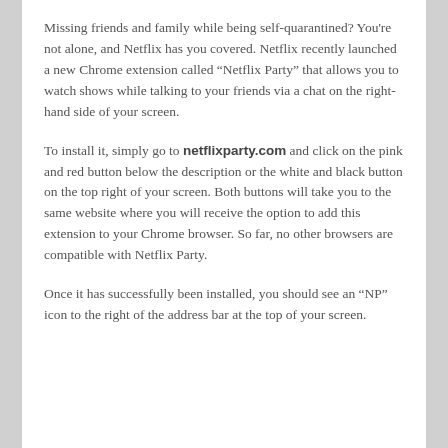Missing friends and family while being self-quarantined? You're not alone, and Netflix has you covered. Netflix recently launched a new Chrome extension called “Netflix Party” that allows you to watch shows while talking to your friends via a chat on the right-hand side of your screen.
To install it, simply go to netflixparty.com and click on the pink and red button below the description or the white and black button on the top right of your screen. Both buttons will take you to the same website where you will receive the option to add this extension to your Chrome browser. So far, no other browsers are compatible with Netflix Party.
Once it has successfully been installed, you should see an “NP” icon to the right of the address bar at the top of your screen.